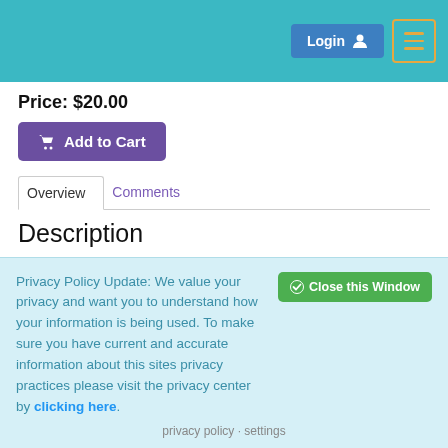Login  [menu icon]
Price: $20.00
Add to Cart
Overview  Comments
Description
Hyperemesis gravidarum is severe nausea and vomiting in early pregnancy which leads to weight loss, dehydration, and ketosis.
Privacy Policy Update: We value your privacy and want you to understand how your information is being used. To make sure you have current and accurate information about this sites privacy practices please visit the privacy center by clicking here.